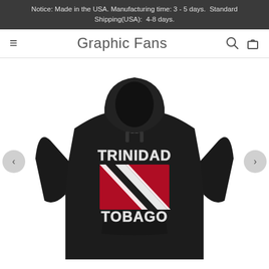Notice: Made in the USA. Manufacturing time: 3 - 5 days.  Standard Shipping(USA):  4-8 days.
Graphic Fans
[Figure (photo): A black hoodie sweatshirt with 'TRINIDAD TOBAGO' text and the Trinidad and Tobago flag printed on the chest in a distressed/vintage style. Navigation arrows on left and right sides.]